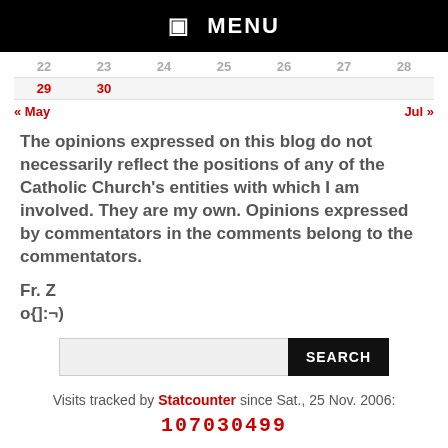☰ MENU
| 22 | 23 | 24 | 25 | 26 | 27 | 28 |
| --- | --- | --- | --- | --- | --- | --- |
| 29 | 30 |  |  |  |  |  |
« May    Jul »
The opinions expressed on this blog do not necessarily reflect the positions of any of the Catholic Church's entities with which I am involved. They are my own. Opinions expressed by commentators in the comments belong to the commentators.
Fr. Z
o{]:¬)
SEARCH
Visits tracked by Statcounter since Sat., 25 Nov. 2006: 107030499